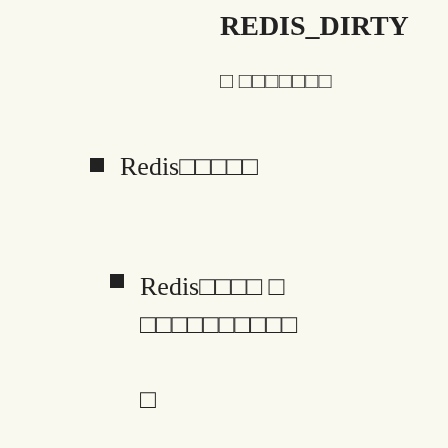REDIS_DIRTY
□ □□□□□□□
Redis□□□□□
Redis□□□□ □ □□□□□□□□□□ □